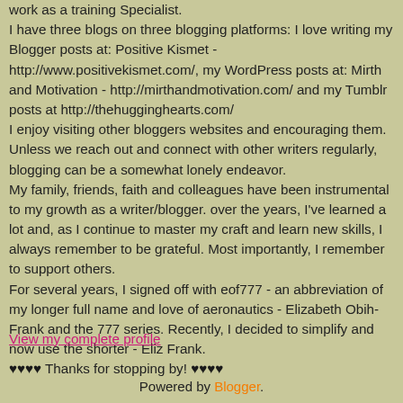work as a training Specialist. I have three blogs on three blogging platforms: I love writing my Blogger posts at: Positive Kismet - http://www.positivekismet.com/, my WordPress posts at: Mirth and Motivation - http://mirthandmotivation.com/ and my Tumblr posts at http://thehugginghearts.com/ I enjoy visiting other bloggers websites and encouraging them. Unless we reach out and connect with other writers regularly, blogging can be a somewhat lonely endeavor. My family, friends, faith and colleagues have been instrumental to my growth as a writer/blogger. over the years, I've learned a lot and, as I continue to master my craft and learn new skills, I always remember to be grateful. Most importantly, I remember to support others. For several years, I signed off with eof777 - an abbreviation of my longer full name and love of aeronautics - Elizabeth Obih-Frank and the 777 series. Recently, I decided to simplify and now use the shorter - Eliz Frank. ♥♥♥♥ Thanks for stopping by! ♥♥♥♥
View my complete profile
Powered by Blogger.